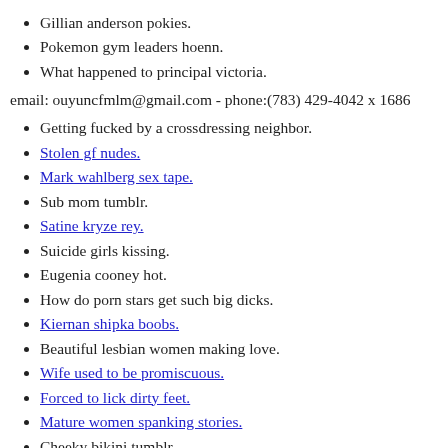Gillian anderson pokies.
Pokemon gym leaders hoenn.
What happened to principal victoria.
email: ouyuncfmlm@gmail.com - phone:(783) 429-4042 x 1686
Getting fucked by a crossdressing neighbor.
Stolen gf nudes.
Mark wahlberg sex tape.
Sub mom tumblr.
Satine kryze rey.
Suicide girls kissing.
Eugenia cooney hot.
How do porn stars get such big dicks.
Kiernan shipka boobs.
Beautiful lesbian women making love.
Wife used to be promiscuous.
Forced to lick dirty feet.
Mature women spanking stories.
Cheeky bikini tumblr.
Cheating bf tumblr.
Hellboy gay porn.
Milf in black stockings.
Kelli pickler nude pics.
Strict women spanking galleries.